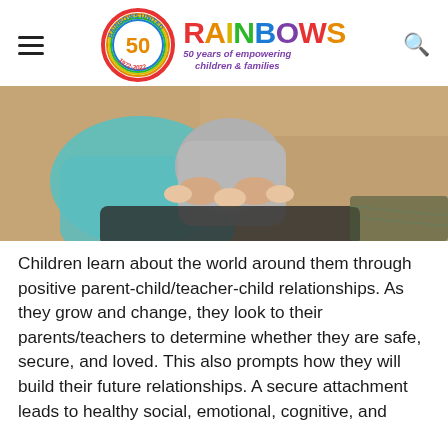[Figure (logo): Rainbows United logo with 50th anniversary badge and rainbow-colored wordmark, tagline '50 years of empowering children & families']
[Figure (photo): Adult holding a baby or toddler outdoors on sandy ground, both wearing casual clothing]
Children learn about the world around them through positive parent-child/teacher-child relationships. As they grow and change, they look to their parents/teachers to determine whether they are safe, secure, and loved. This also prompts how they will build their future relationships. A secure attachment leads to healthy social, emotional, cognitive, and